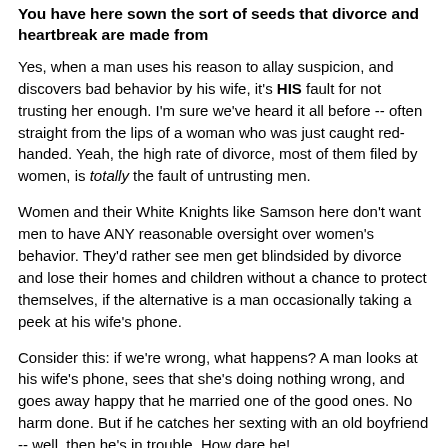You have here sown the sort of seeds that divorce and heartbreak are made from
Yes, when a man uses his reason to allay suspicion, and discovers bad behavior by his wife, it's HIS fault for not trusting her enough. I'm sure we've heard it all before -- often straight from the lips of a woman who was just caught red-handed. Yeah, the high rate of divorce, most of them filed by women, is totally the fault of untrusting men.
Women and their White Knights like Samson here don't want men to have ANY reasonable oversight over women's behavior. They'd rather see men get blindsided by divorce and lose their homes and children without a chance to protect themselves, if the alternative is a man occasionally taking a peek at his wife's phone.
Consider this: if we're wrong, what happens? A man looks at his wife's phone, sees that she's doing nothing wrong, and goes away happy that he married one of the good ones. No harm done. But if he catches her sexting with an old boyfriend -- well, then he's in trouble. How dare he!